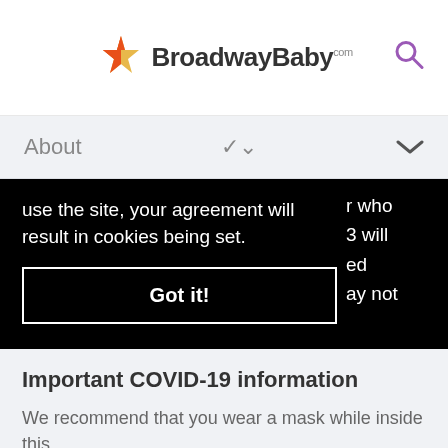BroadwayBaby
About
use the site, your agreement will result in cookies being set.
Got it!
r who 3 will ed ay not
Important COVID-19 information
We recommend that you wear a mask while inside this
Buy Tickets →